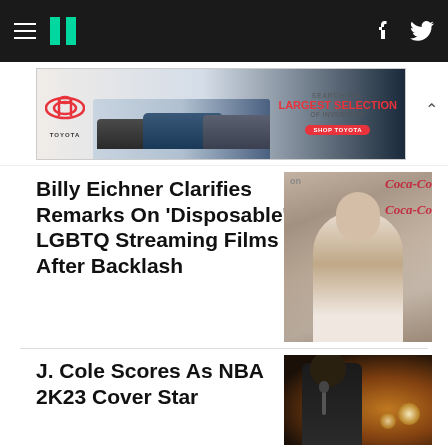HuffPost navigation bar with hamburger menu, logo, Facebook and Twitter icons
[Figure (other): Toyota advertisement banner: SEARCH THE LARGEST SELECTION OF INVENTORY - SHOP TOYOTA]
Billy Eichner Clarifies Remarks On 'Disposable' LGBTQ Streaming Films After Backlash
[Figure (photo): Photo of Billy Eichner at an event with Coca-Cola branding in background]
J. Cole Scores As NBA 2K23 Cover Star
[Figure (photo): Photo of J. Cole performing on stage with microphone, dark background with warm lighting]